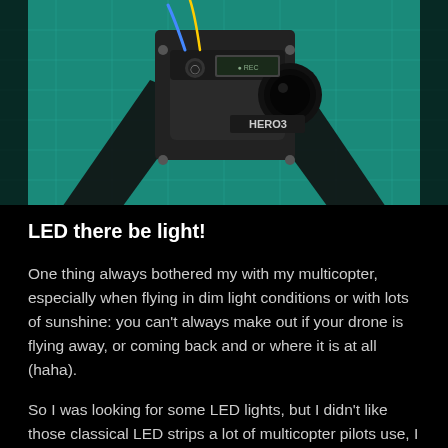[Figure (photo): A GoPro HERO3 camera mounted on a gimbal/frame against a teal/green grid background, photographed from below at an angle]
LED there be light!
One thing always bothered my with my multicopter, especially when flying in dim light conditions or with lots of sunshine: you can't always make out if your drone is flying away, or coming back and or where it is at all (haha).
So I was looking for some LED lights, but I didn't like those classical LED strips a lot of multicopter pilots use, I wanted something more “realistic”, so I went on the net and started looking around, finally I stumbled upon an Turnigy helicopter and plane